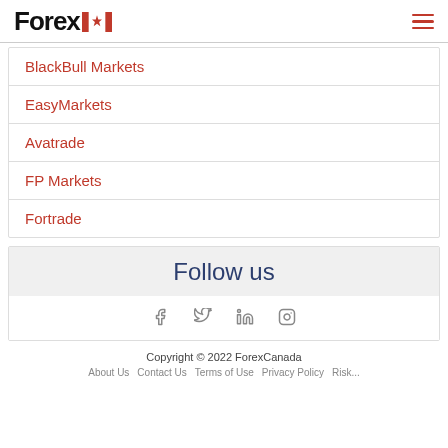Forex Canada
BlackBull Markets
EasyMarkets
Avatrade
FP Markets
Fortrade
Follow us
[Figure (infographic): Social media icons: Facebook, Twitter, LinkedIn, Instagram]
Copyright © 2022 ForexCanada